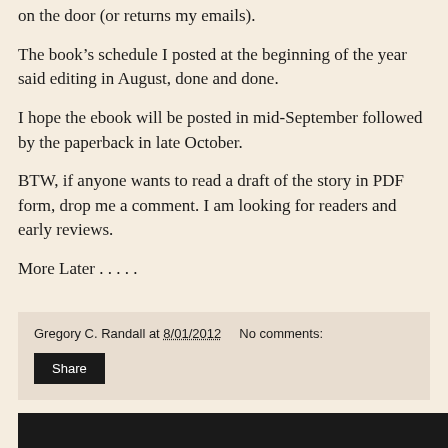on the door (or returns my emails).
The book's schedule I posted at the beginning of the year said editing in August, done and done.
I hope the ebook will be posted in mid-September followed by the paperback in late October.
BTW, if anyone wants to read a draft of the story in PDF form, drop me a comment. I am looking for readers and early reviews.
More Later . . . . .
Gregory C. Randall at 8/01/2012   No comments:   Share